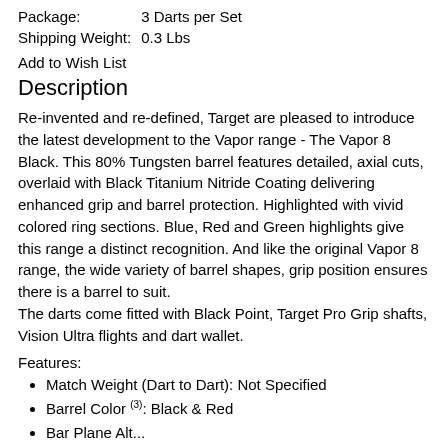| Package: | 3 Darts per Set |
| Shipping Weight: | 0.3 Lbs |
Add to Wish List
Description
Re-invented and re-defined, Target are pleased to introduce the latest development to the Vapor range - The Vapor 8 Black. This 80% Tungsten barrel features detailed, axial cuts, overlaid with Black Titanium Nitride Coating delivering enhanced grip and barrel protection. Highlighted with vivid colored ring sections. Blue, Red and Green highlights give this range a distinct recognition. And like the original Vapor 8 range, the wide variety of barrel shapes, grip position ensures there is a barrel to suit.
The darts come fitted with Black Point, Target Pro Grip shafts, Vision Ultra flights and dart wallet.
Features:
Match Weight (Dart to Dart): Not Specified
Barrel Color (3): Black & Red
Bar Plane Alt...